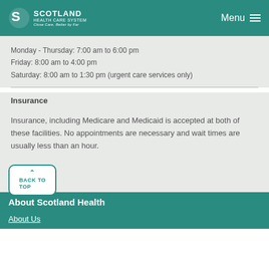Scotland Health Care System — Close Care, Better by Far | Menu
Monday - Thursday: 7:00 am to 6:00 pm
Friday: 8:00 am to 4:00 pm
Saturday: 8:00 am to 1:30 pm (urgent care services only)
Insurance
Insurance, including Medicare and Medicaid is accepted at both of these facilities. No appointments are necessary and wait times are usually less than an hour.
BACK TO
TOP
About Scotland Health
About Us